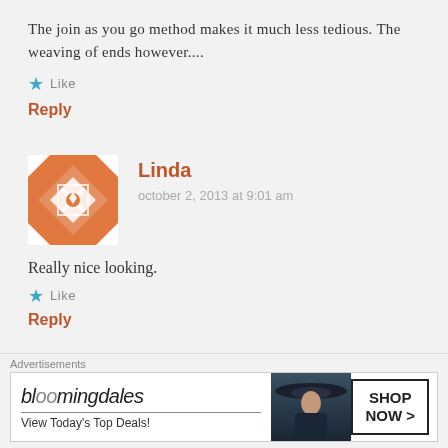The join as you go method makes it much less tedious. The weaving of ends however....
Like
Reply
Linda
october 2, 2013 at 9:01 am
[Figure (illustration): Orange and white geometric quilt pattern avatar icon for user Linda]
Really nice looking.
Like
Reply
Advertisements
[Figure (screenshot): Bloomingdales advertisement banner: 'bloomingdales View Today's Top Deals!' with a woman in a hat and 'SHOP NOW >' button]